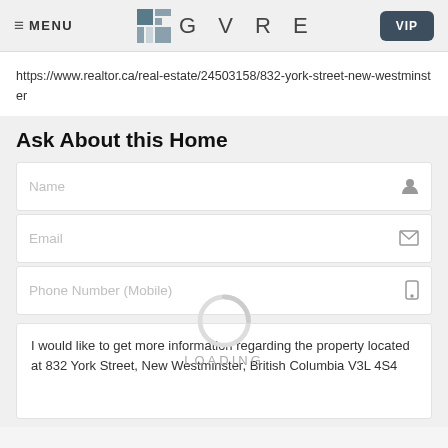MENU | GVRE | VIP
https://www.realtor.ca/real-estate/24503158/832-york-street-new-westminster
Ask About this Home
Name
Email
Phone Number (Mobile)
LOADING
I would like to get more information regarding the property located at 832 York Street, New Westminster, British Columbia V3L 4S4